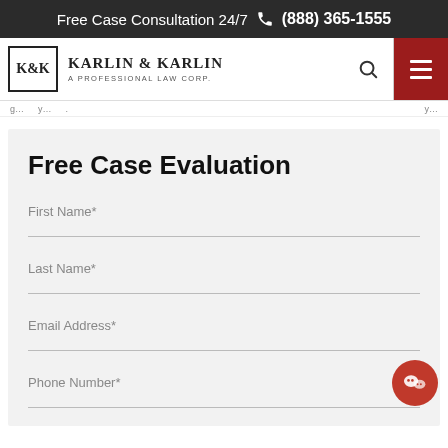Free Case Consultation 24/7 ☎ (888) 365-1555
[Figure (logo): Karlin & Karlin A Professional Law Corp logo with K&K monogram in bordered box]
Free Case Evaluation
First Name*
Last Name*
Email Address*
Phone Number*